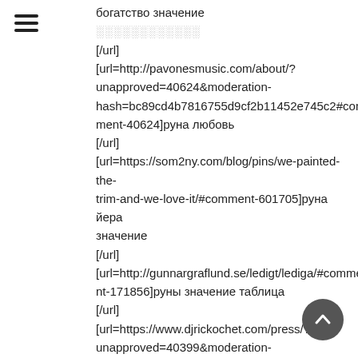[Figure (other): Hamburger menu icon (three horizontal lines)]
богатство значение
░░░░░░░░░░░░
[/url]
[url=http://pavonesmusic.com/about/?unapproved=40624&moderation-hash=bc89cd4b7816755d9cf2b11452e745c2#comment-40624]руна любовь
[/url]
[url=https://som2ny.com/blog/pins/we-painted-the-trim-and-we-love-it/#comment-601705]руна йера значение
[/url]
[url=http://gunnargraflund.se/ledigt/lediga/#comment-171856]руны значение таблица
[/url]
[url=https://www.djrickochet.com/press/?unapproved=40399&moderation-hash=0f21c00f6e954f382919bb1c595e03b3#comment-40399]руна вуньо значение
[/url]